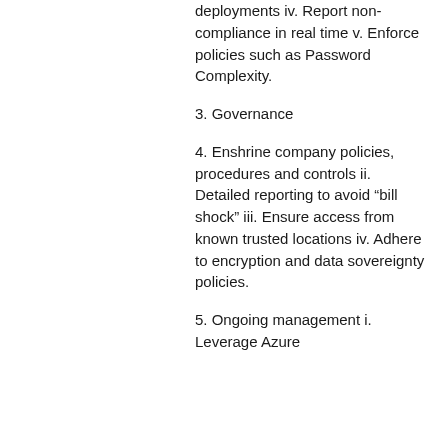deployments iv. Report non-compliance in real time v. Enforce policies such as Password Complexity.
3. Governance
4. Enshrine company policies, procedures and controls ii. Detailed reporting to avoid “bill shock” iii. Ensure access from known trusted locations iv. Adhere to encryption and data sovereignty policies.
5. Ongoing management i. Leverage Azure